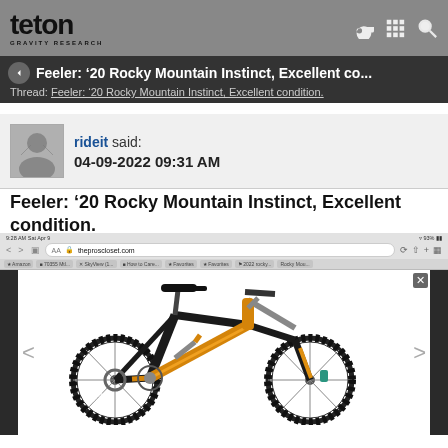teton GRAVITY RESEARCH
Feeler: '20 Rocky Mountain Instinct, Excellent co...
Thread: Feeler: '20 Rocky Mountain Instinct, Excellent condition.
rideit said: 04-09-2022 09:31 AM
Feeler: '20 Rocky Mountain Instinct, Excellent condition.
[Figure (screenshot): Screenshot of theproscloset.com showing a 2020 Rocky Mountain Instinct mountain bike in black and gold/yellow colorway on a white background, viewed in a mobile browser.]